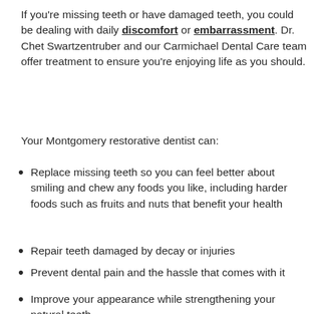If you're missing teeth or have damaged teeth, you could be dealing with daily discomfort or embarrassment. Dr. Chet Swartzentruber and our Carmichael Dental Care team offer treatment to ensure you're enjoying life as you should.
Your Montgomery restorative dentist can:
Replace missing teeth so you can feel better about smiling and chew any foods you like, including harder foods such as fruits and nuts that benefit your health
Repair teeth damaged by decay or injuries
Prevent dental pain and the hassle that comes with it
Improve your appearance while strengthening your natural teeth
Call 334-600-1 423 to schedule your appointment with Dr. Swartzentruber today! Be sure to find out